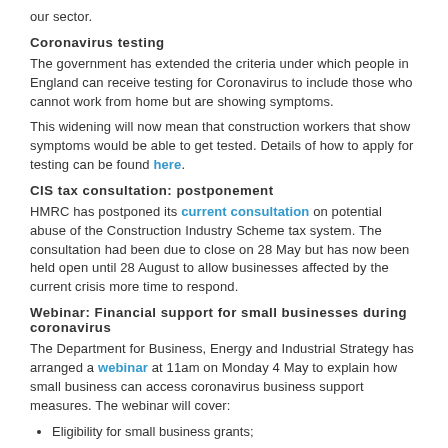our sector.
Coronavirus testing
The government has extended the criteria under which people in England can receive testing for Coronavirus to include those who cannot work from home but are showing symptoms.
This widening will now mean that construction workers that show symptoms would be able to get tested. Details of how to apply for testing can be found here.
CIS tax consultation: postponement
HMRC has postponed its current consultation on potential abuse of the Construction Industry Scheme tax system. The consultation had been due to close on 28 May but has now been held open until 28 August to allow businesses affected by the current crisis more time to respond.
Webinar: Financial support for small businesses during coronavirus
The Department for Business, Energy and Industrial Strategy has arranged a webinar at 11am on Monday 4 May to explain how small business can access coronavirus business support measures. The webinar will cover:
Eligibility for small business grants;
Applying for a loan;
Tax;
Claiming for wages through the Coronavirus Job Retention Scheme.
You will have the opportunity to ask questions during the webinar.
Coronavirus Job Retention Scheme: Survey
A survey conducted by the Construction Contractor Task Force and the